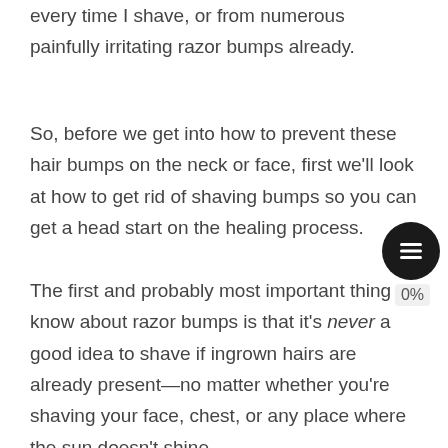every time I shave, or from numerous painfully irritating razor bumps already.
So, before we get into how to prevent these hair bumps on the neck or face, first we'll look at how to get rid of shaving bumps so you can get a head start on the healing process.
The first and probably most important thing to know about razor bumps is that it's never a good idea to shave if ingrown hairs are already present—no matter whether you're shaving your face, chest, or any place where the sun doesn't shine.